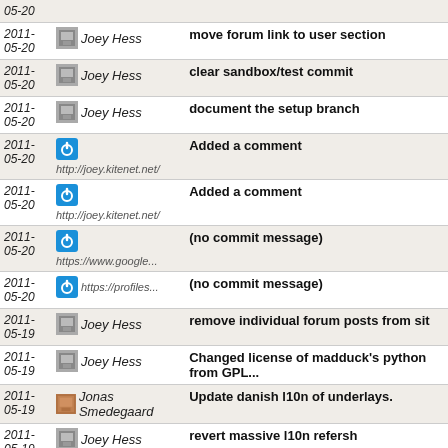| Date | Author | Message |
| --- | --- | --- |
| 2011-05-20 | Joey Hess | move forum link to user section |
| 2011-05-20 | Joey Hess | clear sandbox/test commit |
| 2011-05-20 | Joey Hess | document the setup branch |
| 2011-05-20 | http://joey.kitenet.net/ | Added a comment |
| 2011-05-20 | http://joey.kitenet.net/ | Added a comment |
| 2011-05-20 | https://www.google... | (no commit message) |
| 2011-05-20 | https://profiles... | (no commit message) |
| 2011-05-19 | Joey Hess | remove individual forum posts from sit |
| 2011-05-19 | Joey Hess | Changed license of madduck's python from GPL... |
| 2011-05-19 | Jonas Smedegaard | Update danish l10n of underlays. |
| 2011-05-19 | Joey Hess | revert massive l10n refersh |
| 2011-05-19 | Philippe Batailler | Typo |
| 2011-05-19 |  | less necessary due to 404 plugin |